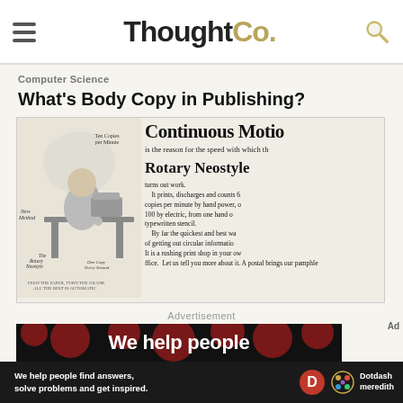ThoughtCo.
Computer Science
What's Body Copy in Publishing?
[Figure (illustration): Vintage advertisement for the Rotary Neostyle duplicating machine, showing a woman seated at a desk operating the device, with text about Continuous Motion and the product's features.]
Advertisement
[Figure (photo): Dark advertisement banner reading 'We help people' with red polka dot background pattern.]